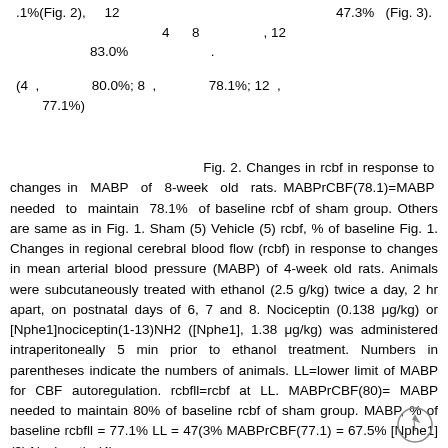.1%(Fig. 2),    12      47.3%   (Fig. 3).
4    8              , 12
83.0%                          .
(4  ,              80.0%; 8  ,              78.1%; 12  ,      77.1%)
Fig. 2. Changes in rcbf in response to changes in MABP of 8-week old rats. MABPrCBF(78.1)=MABP needed to maintain 78.1% of baseline rcbf of sham group. Others are same as in Fig. 1. Sham (5) Vehicle (5) rcbf, % of baseline Fig. 1. Changes in regional cerebral blood flow (rcbf) in response to changes in mean arterial blood pressure (MABP) of 4-week old rats. Animals were subcutaneously treated with ethanol (2.5 g/kg) twice a day, 2 hr apart, on postnatal days of 6, 7 and 8. Nociceptin (0.138 μg/kg) or [Nphe1]nociceptin(1-13)NH2 ([Nphe1], 1.38 μg/kg) was administered intraperitoneally 5 min prior to ethanol treatment. Numbers in parentheses indicate the numbers of animals. LL=lower limit of MABP for CBF autoregulation. rcbfll=rcbf at LL. MABPrCBF(80)=MABP needed to maintain 80% of baseline rcbf of sham group. MABP, % of baseline rcbfll = 77.1% LL = 47(3% MABPrCBF(77.1) = 67.5% [Nphe1] (3) Nociceptin (4)